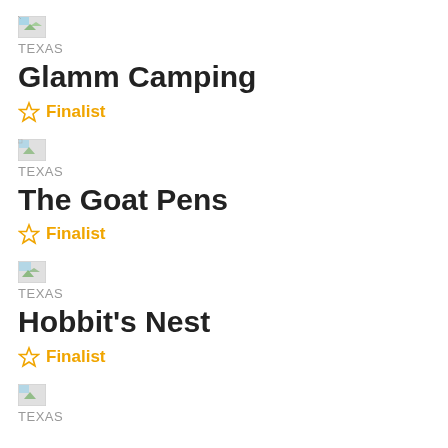[Figure (photo): Small thumbnail image placeholder for Glamm Camping listing]
TEXAS
Glamm Camping
☆ Finalist
[Figure (photo): Small thumbnail image placeholder for The Goat Pens listing]
TEXAS
The Goat Pens
☆ Finalist
[Figure (photo): Small thumbnail image placeholder for Hobbit's Nest listing]
TEXAS
Hobbit's Nest
☆ Finalist
[Figure (photo): Small thumbnail image placeholder for fourth listing]
TEXAS